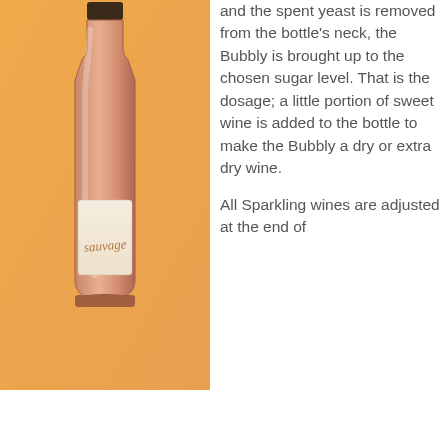[Figure (illustration): Illustration of a rosé sparkling wine bottle with an orange gradient background. The bottle has a label reading 'sauvage' in handwritten script.]
and the spent yeast is removed from the bottle's neck, the Bubbly is brought up to the chosen sugar level. That is the dosage; a little portion of sweet wine is added to the bottle to make the Bubbly a dry or extra dry wine.

All Sparkling wines are adjusted at the end of